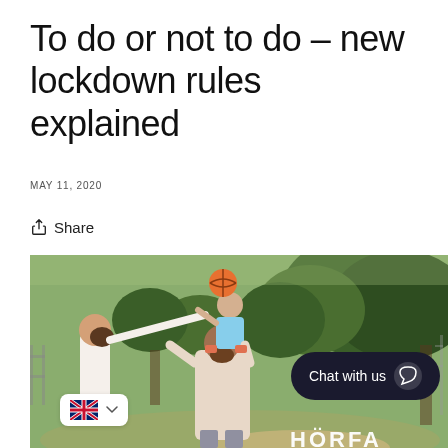To do or not to do – new lockdown rules explained
MAY 11, 2020
Share
[Figure (photo): A family in a park: a man with a child sitting on his shoulders holding a basketball, and a woman reaching up toward them. Green trees in the background.]
Chat with us
HÖRFA